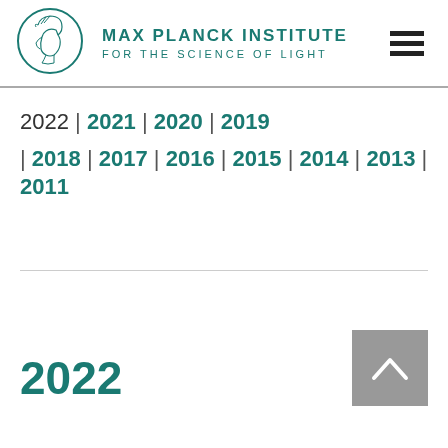MAX PLANCK INSTITUTE FOR THE SCIENCE OF LIGHT
2022 | 2021 | 2020 | 2019 | 2018 | 2017 | 2016 | 2015 | 2014 | 2013 | 2011
2022
[Figure (other): Back to top button: grey square with upward-pointing chevron arrow]